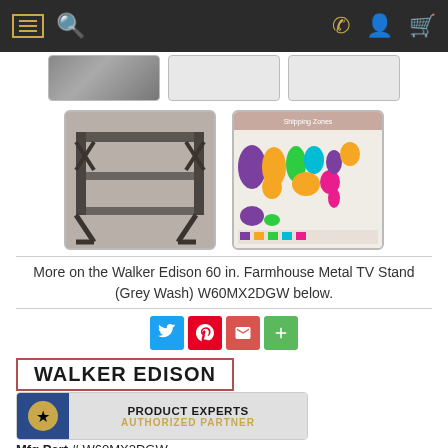[Figure (screenshot): Website navigation bar with hamburger menu, search icon on the left, and phone, user, cart icons on the right, dark background with gold icons]
[Figure (photo): Row of product thumbnail images of TV stand, partially visible at top]
[Figure (photo): Larger product thumbnail of grey wash TV stand furniture]
[Figure (map): Colorful map of United States showing shipping zones by color]
More on the Walker Edison 60 in. Farmhouse Metal TV Stand (Grey Wash) W60MX2DGW below.
[Figure (infographic): Social sharing buttons: Twitter, Pinterest, Email, Plus]
[Figure (logo): Walker Edison brand logo with red border box]
[Figure (infographic): Product Experts Authorized Partner badge with blue left panel and star icon]
Mfg Part # W60MX2DGW